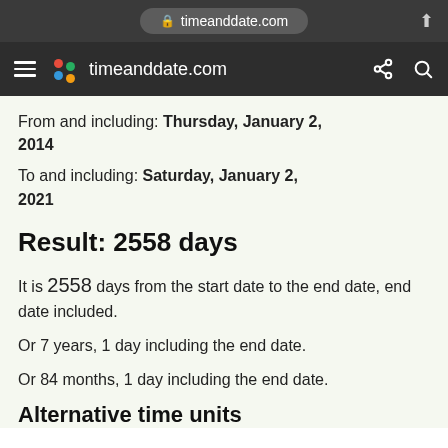timeanddate.com
≡ timeanddate.com
From and including: Thursday, January 2, 2014
To and including: Saturday, January 2, 2021
Result: 2558 days
It is 2558 days from the start date to the end date, end date included.
Or 7 years, 1 day including the end date.
Or 84 months, 1 day including the end date.
Alternative time units